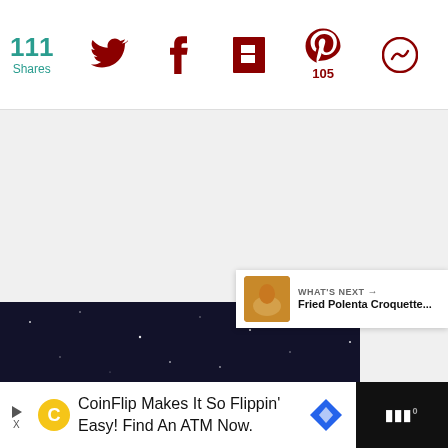111 Shares | Social sharing bar with Twitter, Facebook, Flipboard, Pinterest (105), and another icon
[Figure (screenshot): Gray/white blank content area in the middle of the page]
[Figure (screenshot): Floating heart (favorite) button and share button on right side]
[Figure (screenshot): What's Next panel: Fried Polenta Croquette... with thumbnail]
[Figure (photo): Dark night sky with stars at bottom of content area]
[Figure (screenshot): Advertisement bar: CoinFlip Makes It So Flippin' Easy! Find An ATM Now.]